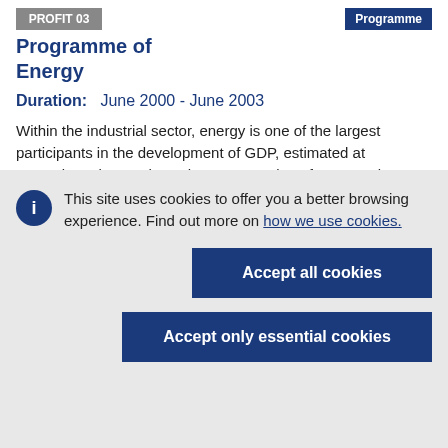PROFIT 03 | Programme of Energy | Programme
Programme of Energy
Duration:   June 2000 - June 2003
Within the industrial sector, energy is one of the largest participants in the development of GDP, estimated at approximately 6%.The Enhancement Plan of Proposed Energy (PAE/MNER) coordinated
This site uses cookies to offer you a better browsing experience. Find out more on how we use cookies.
Accept all cookies
Accept only essential cookies